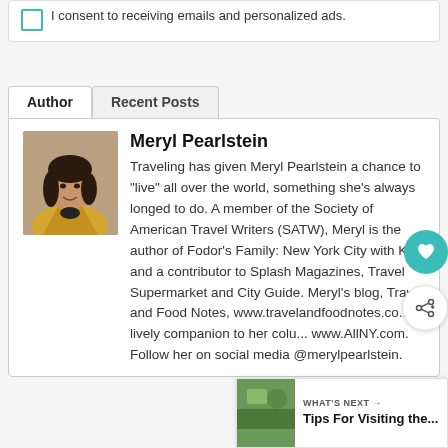I consent to receiving emails and personalized ads.
Author | Recent Posts
Meryl Pearlstein
[Figure (photo): Portrait photo of Meryl Pearlstein, a woman with dark hair wearing a yellow jacket]
Traveling has given Meryl Pearlstein a chance to "live" all over the world, something she's always longed to do. A member of the Society of American Travel Writers (SATW), Meryl is the author of Fodor's Family: New York City with Kids and a contributor to Splash Magazines, Travel Supermarket and City Guide. Meryl's blog, Travel and Food Notes, www.travelandfoodnotes.co... lively companion to her colu... www.AllNY.com. Follow her on social media @merylpearlstein.